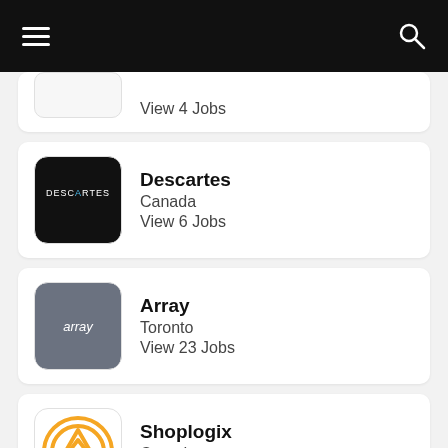View 4 Jobs
Descartes · Canada · View 6 Jobs
Array · Toronto · View 23 Jobs
Shoplogix · Canada · View 2 Jobs